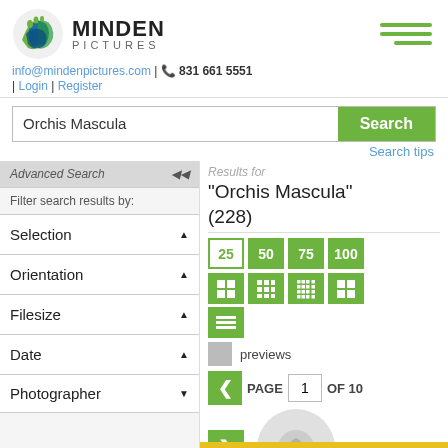[Figure (logo): Minden Pictures logo with circular globe icon and text MINDEN PICTURES]
info@mindenpictures.com | ☎ 831 661 5551 | Login | Register
Orchis Mascula [Search] Search tips
Advanced Search
Filter search results by:
Results for "Orchis Mascula" (228)
25 50 75 100
previews
PAGE 1 OF 10
Selection
Orientation
Filesize
Date
Photographer